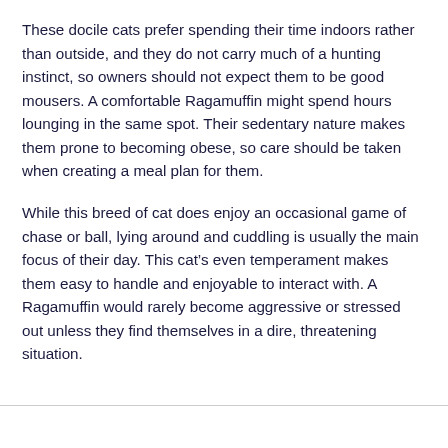These docile cats prefer spending their time indoors rather than outside, and they do not carry much of a hunting instinct, so owners should not expect them to be good mousers. A comfortable Ragamuffin might spend hours lounging in the same spot. Their sedentary nature makes them prone to becoming obese, so care should be taken when creating a meal plan for them.
While this breed of cat does enjoy an occasional game of chase or ball, lying around and cuddling is usually the main focus of their day. This cat’s even temperament makes them easy to handle and enjoyable to interact with. A Ragamuffin would rarely become aggressive or stressed out unless they find themselves in a dire, threatening situation.